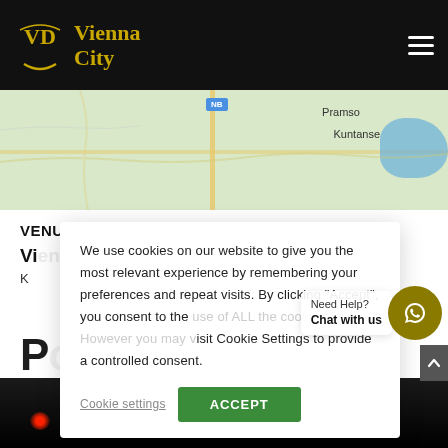[Figure (logo): Vienna City logo with gold stylized VD monogram and gold text 'Vienna City' on black header bar]
[Figure (map): Google Maps partial screenshot showing green terrain with road, place labels Pramso and Kuntanse, blue lake on right, road marker labeled NB]
VENUE
Vienna City Kumasi
K...
We use cookies on our website to give you the most relevant experience by remembering your preferences and repeat visits. By clicking "Accept", you consent to the use of ALL the cookies. However you may visit Cookie Settings to provide a controlled consent.
Cookie settings
ACCEPT
Need Help?
Chat with us
[Figure (photo): Dark photo of an event venue or stage with red lights at bottom]